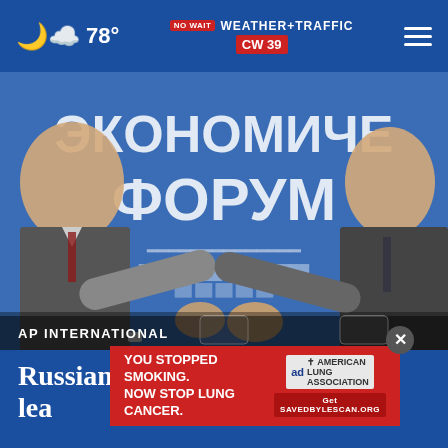78° NO WAIT WEATHER+TRAFFIC CW39
[Figure (photo): Two men in suits about to shake hands at what appears to be a Russian Economic Forum event. A blue backdrop with Cyrillic text reading ЭКОНОМИЧЕ ФОРУМ is visible in the background.]
AP INTERNATIONAL
Russian ties shred Germa-ex-lea g
[Figure (other): Advertisement overlay: YOU STOPPED SMOKING. NOW STOP LUNG CANCER. American Lung Association. Get SAVEDBYLESCAN.ORG]